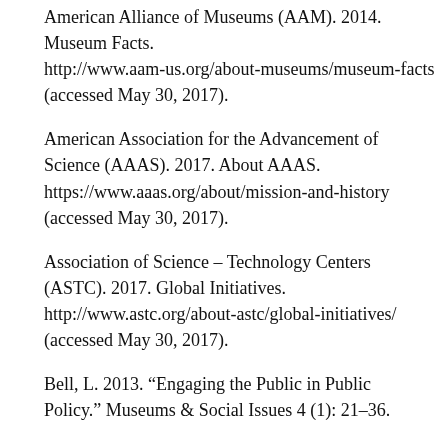American Alliance of Museums (AAM). 2014. Museum Facts. http://www.aam-us.org/about-museums/museum-facts (accessed May 30, 2017).
American Association for the Advancement of Science (AAAS). 2017. About AAAS. https://www.aaas.org/about/mission-and-history (accessed May 30, 2017).
Association of Science – Technology Centers (ASTC). 2017. Global Initiatives. http://www.astc.org/about-astc/global-initiatives/ (accessed May 30, 2017).
Bell, L. 2013. “Engaging the Public in Public Policy.” Museums & Social Issues 4 (1): 21–36.